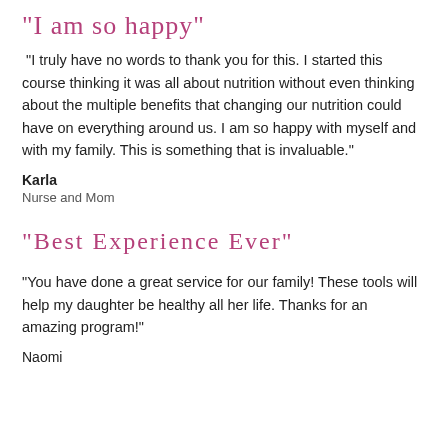"I am so happy"
"I truly have no words to thank you for this. I started this course thinking it was all about nutrition without even thinking about the multiple benefits that changing our nutrition could have on everything around us. I am so happy with myself and with my family. This is something that is invaluable."
Karla
Nurse and Mom
"Best Experience Ever"
"You have done a great service for our family! These tools will help my daughter be healthy all her life. Thanks for an amazing program!"
Naomi